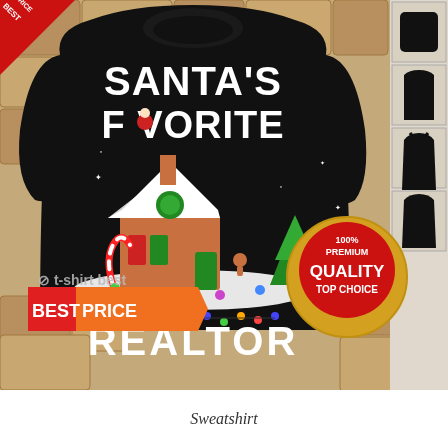[Figure (photo): Product photo of a black Christmas sweatshirt with text 'Santa's Favorite Realtor' and a gingerbread house scene with Santa, candy canes, Christmas tree, and holiday lights. Stone wall background. Thumbnail product variants on right side. 'Best Price' orange banner bottom-left, red corner triangle top-left. Gold '100% Premium Quality Top Choice' badge bottom-right. T-shirt best watermark logo.]
Sweatshirt